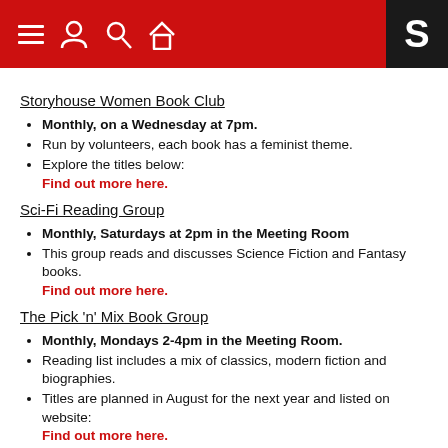Storyhouse navigation header with icons and S logo
Storyhouse Women Book Club
Monthly, on a Wednesday at 7pm.
Run by volunteers, each book has a feminist theme.
Explore the titles below: Find out more here.
Sci-Fi Reading Group
Monthly, Saturdays at 2pm in the Meeting Room
This group reads and discusses Science Fiction and Fantasy books. Find out more here.
The Pick 'n' Mix Book Group
Monthly, Mondays 2-4pm in the Meeting Room.
Reading list includes a mix of classics, modern fiction and biographies.
Titles are planned in August for the next year and listed on website: Find out more here.